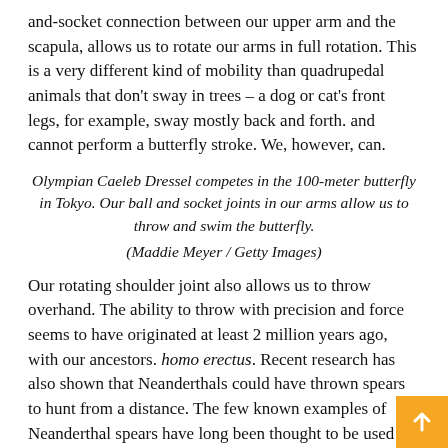and-socket connection between our upper arm and the scapula, allows us to rotate our arms in full rotation. This is a very different kind of mobility than quadrupedal animals that don't sway in trees – a dog or cat's front legs, for example, sway mostly back and forth. and cannot perform a butterfly stroke. We, however, can.
Olympian Caeleb Dressel competes in the 100-meter butterfly in Tokyo. Our ball and socket joints in our arms allow us to throw and swim the butterfly.
(Maddie Meyer / Getty Images)
Our rotating shoulder joint also allows us to throw overhand. The ability to throw with precision and force seems to have originated at least 2 million years ago, with our ancestors. homo erectus. Recent research has also shown that Neanderthals could have thrown spears to hunt from a distance. The few known examples of Neanderthal spears have long been thought to be used only for thrusting and close slaughter of prey, in part because when researchers tried to throw aftershocks, they didn't get far.